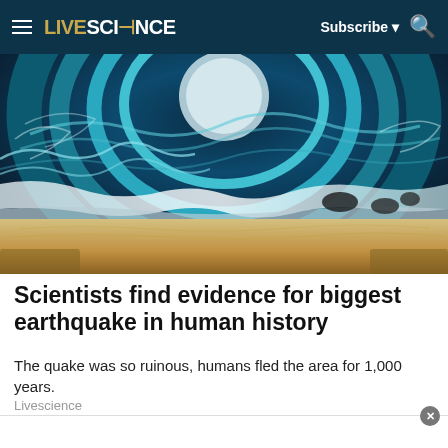LIVESCIENCE  Subscribe  🔍
[Figure (photo): Dramatic ocean wave swirling over a beach with sandy shore and coastal vegetation, teal and dark blue water]
Scientists find evidence for biggest earthquake in human history
The quake was so ruinous, humans fled the area for 1,000 years.
Livescience